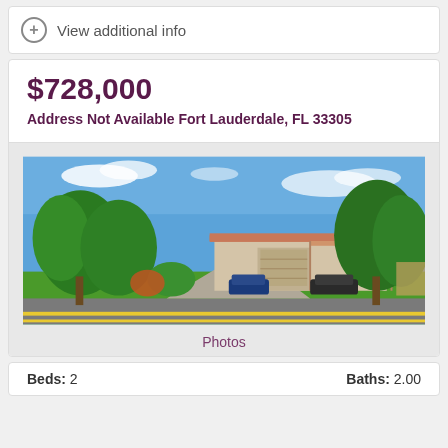View additional info
$728,000
Address Not Available Fort Lauderdale, FL 33305
[Figure (photo): Exterior photo of a single-story home in Fort Lauderdale, FL with a driveway, garage, lush trees, and blue sky with clouds]
Photos
Beds: 2    Baths: 2.00